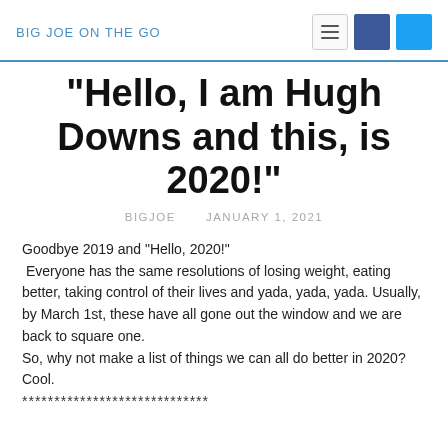BIG JOE ON THE GO
“Hello, I am Hugh Downs and this, is 2020!”
BIGJOE    JANUARY 1, 2021
Goodbye 2019 and “Hello, 2020!”
 Everyone has the same resolutions of losing weight, eating better, taking control of their lives and yada, yada, yada. Usually, by March 1st, these have all gone out the window and we are back to square one.
So, why not make a list of things we can all do better in 2020?  Cool.
*****************************